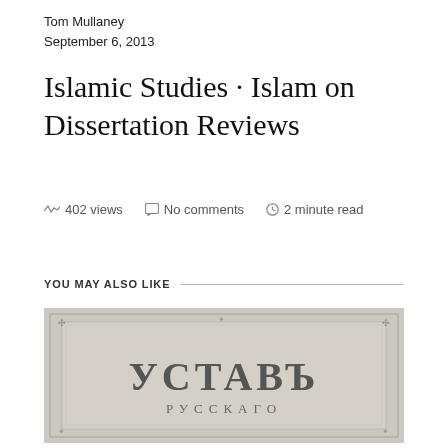Tom Mullaney
September 6, 2013
Islamic Studies · Islam on Dissertation Reviews
402 views   No comments   2 minute read
YOU MAY ALSO LIKE
[Figure (photo): Scanned title page of an old Russian book showing ornamental border and Cyrillic text reading УСТАВЪ РУССКАГО]